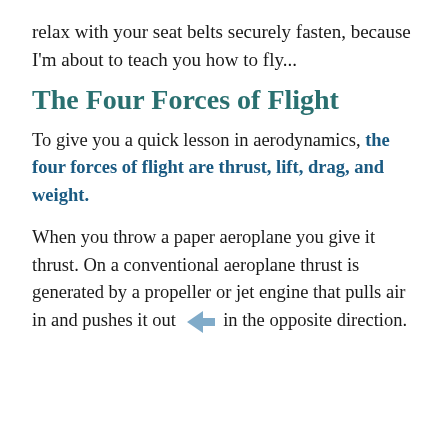relax with your seat belts securely fasten, because I'm about to teach you how to fly...
The Four Forces of Flight
To give you a quick lesson in aerodynamics, the four forces of flight are thrust, lift, drag, and weight.
When you throw a paper aeroplane you give it thrust. On a conventional aeroplane thrust is generated by a propeller or jet engine that pulls air in and pushes it out in the opposite direction.